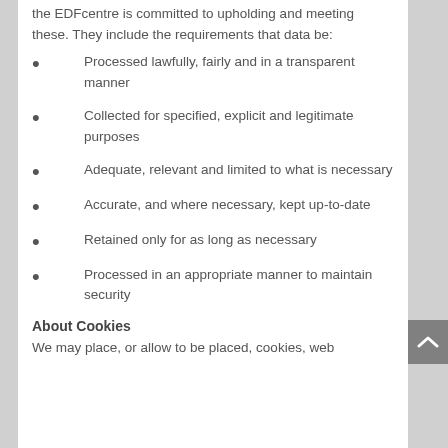the EDFcentre is committed to upholding and meeting these. They include the requirements that data be:
Processed lawfully, fairly and in a transparent manner
Collected for specified, explicit and legitimate purposes
Adequate, relevant and limited to what is necessary
Accurate, and where necessary, kept up-to-date
Retained only for as long as necessary
Processed in an appropriate manner to maintain security
About Cookies
We may place, or allow to be placed, cookies, web